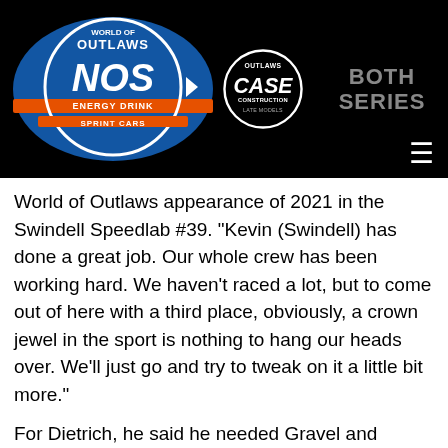[Figure (logo): World of Outlaws NOS Energy Drink Sprint Cars logo (blue and orange with circle design)]
[Figure (logo): Outlaws CASE Construction Late Models circular logo]
BOTH SERIES
World of Outlaws appearance of 2021 in the Swindell Speedlab #39. “Kevin (Swindell) has done a great job. Our whole crew has been working hard. We haven’t raced a lot, but to come out of here with a third place, obviously, a crown jewel in the sport is nothing to hang our heads over. We’ll just go and try to tweak on it a little bit more.”
For Dietrich, he said he needed Gravel and Courtney to take each other out to win… with a chuckle after.
“It was so hard to pass,” Dietrich said. “I think you saw where I tried to pull the trigger on David but as soon as you moved down it seemed like you just slid through the rubber and killed your exit speed. I don’t know if I could’ve done